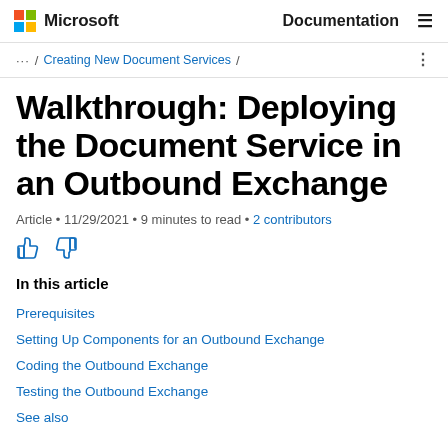Microsoft  Documentation
... / Creating New Document Services /
Walkthrough: Deploying the Document Service in an Outbound Exchange
Article • 11/29/2021 • 9 minutes to read • 2 contributors
In this article
Prerequisites
Setting Up Components for an Outbound Exchange
Coding the Outbound Exchange
Testing the Outbound Exchange
See also